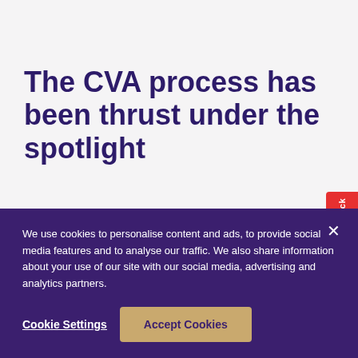The CVA process has been thrust under the spotlight
We take a look at the CVA process, its impact on the sector and what landlords can do to protect themselves.
[Figure (photo): Blue sky photograph used as a decorative banner image]
We use cookies to personalise content and ads, to provide social media features and to analyse our traffic. We also share information about your use of our site with our social media, advertising and analytics partners.
Cookie Settings
Accept Cookies